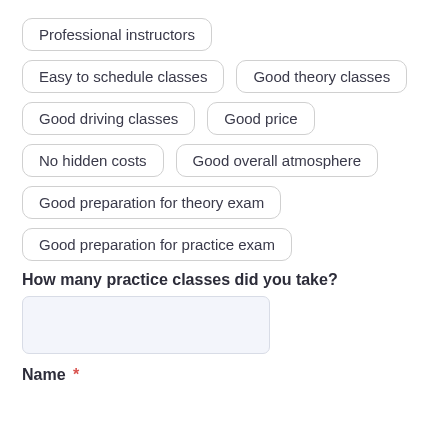Professional instructors
Easy to schedule classes
Good theory classes
Good driving classes
Good price
No hidden costs
Good overall atmosphere
Good preparation for theory exam
Good preparation for practice exam
How many practice classes did you take?
Name *